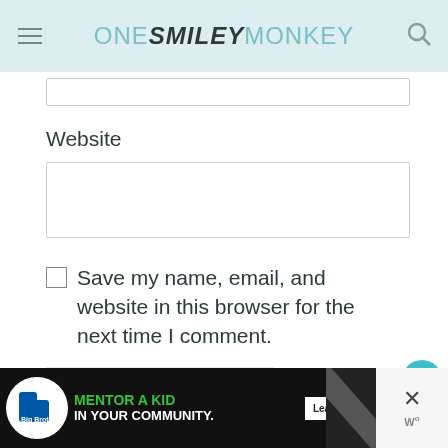ONE SMILEY MONKEY
Website
Save my name, email, and website in this browser for the next time I comment.
POST COMMENT
Confirm you are NOT a spammer
[Figure (screenshot): Advertisement banner: Big Brothers Big Sisters - MENTOR A KID IN YOUR COMMUNITY. Learn How button.]